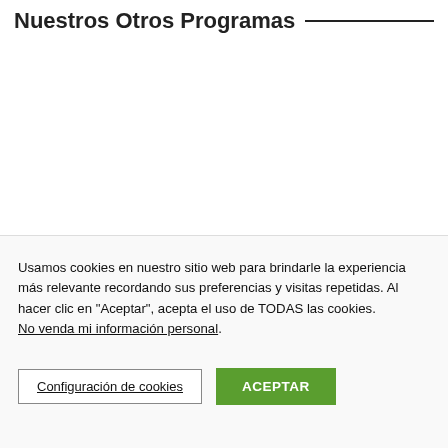Nuestros Otros Programas
Usamos cookies en nuestro sitio web para brindarle la experiencia más relevante recordando sus preferencias y visitas repetidas. Al hacer clic en "Aceptar", acepta el uso de TODAS las cookies. No venda mi información personal.
Configuración de cookies
ACEPTAR